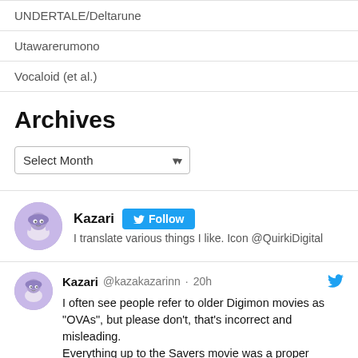UNDERTALE/Deltarune
Utawarerumono
Vocaloid (et al.)
Archives
Select Month
[Figure (other): Twitter follow widget showing user Kazari with purple anime avatar, Follow button, and bio: I translate various things I like. Icon @QuirkiDigital]
Kazari @kazakazarinn · 20h
I often see people refer to older Digimon movies as "OVAs", but please don't, that's incorrect and misleading.
Everything up to the Savers movie was a proper theatrical release. OVAs are a very different kind of